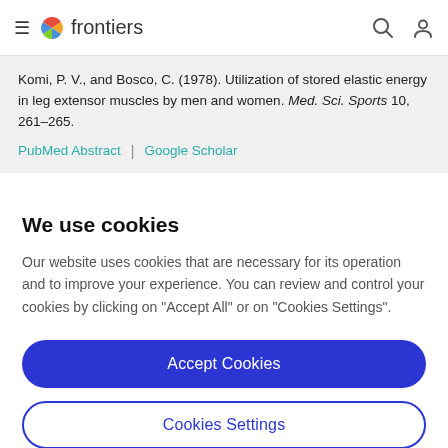frontiers
Komi, P. V., and Bosco, C. (1978). Utilization of stored elastic energy in leg extensor muscles by men and women. Med. Sci. Sports 10, 261–265.
PubMed Abstract | Google Scholar
We use cookies
Our website uses cookies that are necessary for its operation and to improve your experience. You can review and control your cookies by clicking on "Accept All" or on "Cookies Settings".
Accept Cookies
Cookies Settings